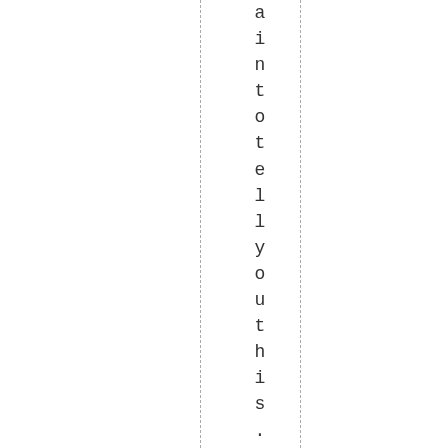a i n t o t e l l y o u t h i s .  T h e t o p 2